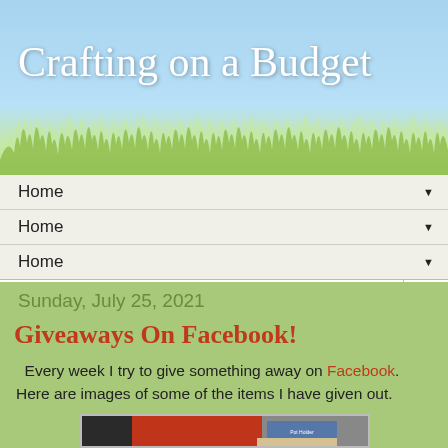Crafting on a Budget
Home ▼
Home ▼
Home ▼
Sunday, July 25, 2021
Giveaways On Facebook!
Every week I try to give something away on Facebook.  Here are images of some of the items I have given out.
[Figure (photo): Photo of craft giveaway items including a red drawstring bag and a pot holder with packaging]